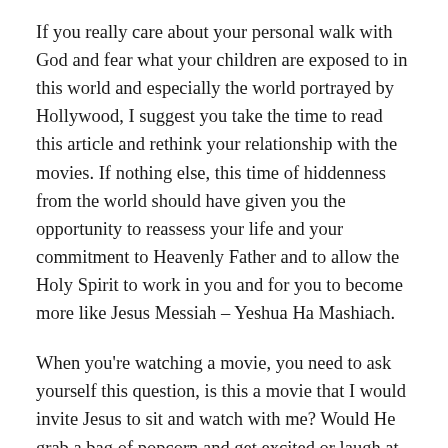If you really care about your personal walk with God and fear what your children are exposed to in this world and especially the world portrayed by Hollywood, I suggest you take the time to read this article and rethink your relationship with the movies. If nothing else, this time of hiddenness from the world should have given you the opportunity to reassess your life and your commitment to Heavenly Father and to allow the Holy Spirit to work in you and for you to become more like Jesus Messiah – Yeshua Ha Mashiach.
When you're watching a movie, you need to ask yourself this question, is this a movie that I would invite Jesus to sit and watch with me? Would He grab a bag of popcorn and get excited or laugh at the scenes that are on the screen or would He cry in despair at the pain, the sex,